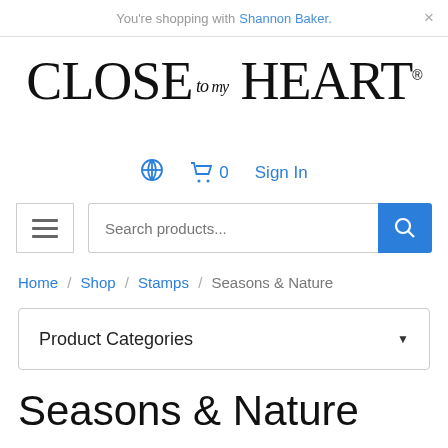You're shopping with Shannon Baker. ×
[Figure (logo): Close To My Heart logo in serif font]
⊘  🛒 0  Sign In
Search products...
Home / Shop / Stamps / Seasons & Nature
Product Categories
Seasons & Nature